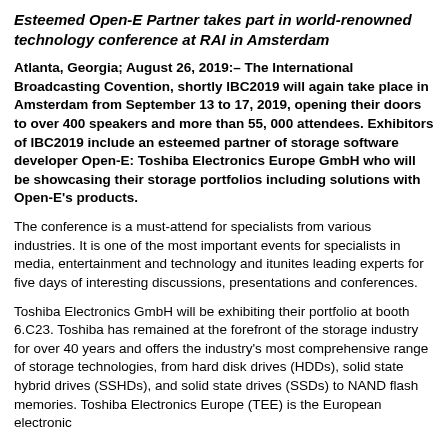Esteemed Open-E Partner takes part in world-renowned technology conference at RAI in Amsterdam
Atlanta, Georgia; August 26, 2019:– The International Broadcasting Covention, shortly IBC2019 will again take place in Amsterdam from September 13 to 17, 2019, opening their doors to over 400 speakers and more than 55, 000 attendees. Exhibitors of IBC2019 include an esteemed partner of storage software developer Open-E: Toshiba Electronics Europe GmbH who will be showcasing their storage portfolios including solutions with Open-E's products.
The conference is a must-attend for specialists from various industries. It is one of the most important events for specialists in media, entertainment and technology and itunites leading experts for five days of interesting discussions, presentations and conferences.
Toshiba Electronics GmbH will be exhibiting their portfolio at booth 6.C23. Toshiba has remained at the forefront of the storage industry for over 40 years and offers the industry's most comprehensive range of storage technologies, from hard disk drives (HDDs), solid state hybrid drives (SSHDs), and solid state drives (SSDs) to NAND flash memories. Toshiba Electronics Europe (TEE) is the European electronic...